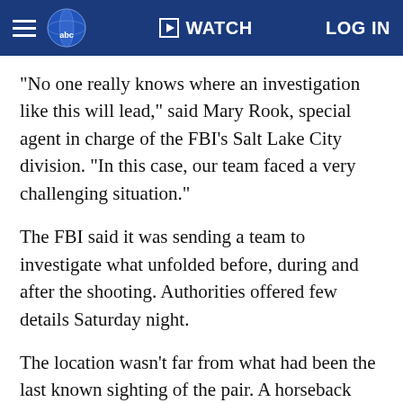WATCH | LOG IN
"No one really knows where an investigation like this will lead," said Mary Rook, special agent in charge of the FBI's Salt Lake City division. "In this case, our team faced a very challenging situation."
The FBI said it was sending a team to investigate what unfolded before, during and after the shooting. Authorities offered few details Saturday night.
The location wasn't far from what had been the last known sighting of the pair. A horseback rider called authorities Thursday night to report that on Wednesday he had seen two people who resembled Anderson and DiMaggio with camping gear on a trail near the lake. The rider, whose name wasn't released, didn't realize they were subjects of a